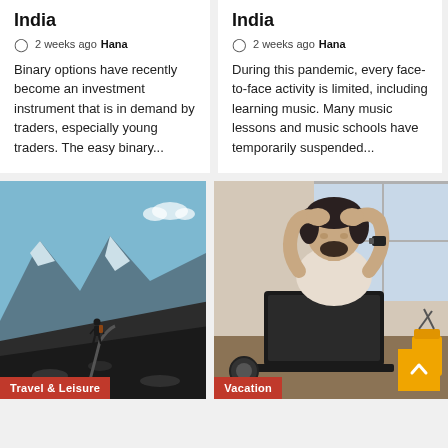India
2 weeks ago  Hana
Binary options have recently become an investment instrument that is in demand by traders, especially young traders. The easy binary...
India
2 weeks ago  Hana
During this pandemic, every face-to-face activity is limited, including learning music. Many music lessons and music schools have temporarily suspended...
[Figure (photo): Person standing on rocky mountain terrain with glacier and blue sky in background. 'Travel & Leisure' label at bottom.]
[Figure (photo): Man with head in hands sitting at desk with laptop and headphones. 'Vacation' label at bottom.]